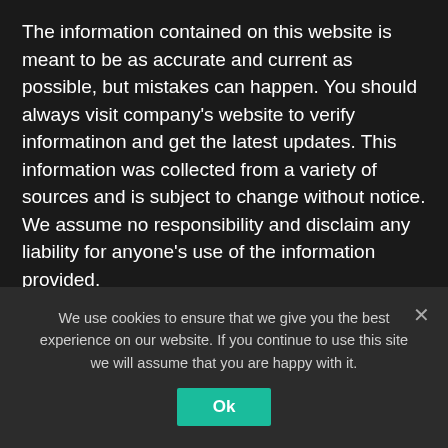The information contained on this website is meant to be as accurate and current as possible, but mistakes can happen. You should always visit company's website to verify informatinon and get the latest updates. This information was collected from a variety of sources and is subject to change without notice. We assume no responsibility and disclaim any liability for anyone's use of the information provided.
Articles on this website are for informational purposes only and are NOT intended to replace professional
We use cookies to ensure that we give you the best experience on our website. If you continue to use this site we will assume that you are happy with it.
Ok